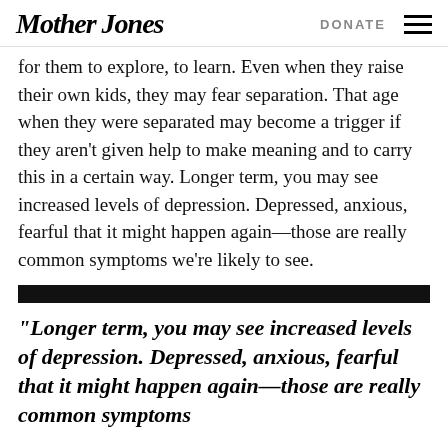Mother Jones | DONATE
for them to explore, to learn. Even when they raise their own kids, they may fear separation. That age when they were separated may become a trigger if they aren't given help to make meaning and to carry this in a certain way. Longer term, you may see increased levels of depression. Depressed, anxious, fearful that it might happen again—those are really common symptoms we're likely to see.
“Longer term, you may see increased levels of depression. Depressed, anxious, fearful that it might happen again—those are really common symptoms